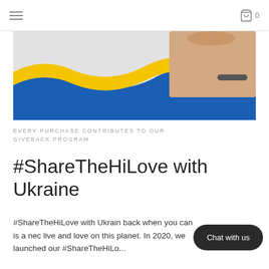≡  0
[Figure (photo): A hand holding a yellow object against a background with blue and yellow wave shapes, resembling Ukrainian flag colors.]
EVERY PURCHASE CONTRIBUTES TO OUR GIVEBACK PROGRAM
#ShareTheHiLove with Ukraine
#ShareTheHiLove with Ukraine back when you can is a nec live and love on this planet. In 2020, we launched our #ShareTheHiLo...